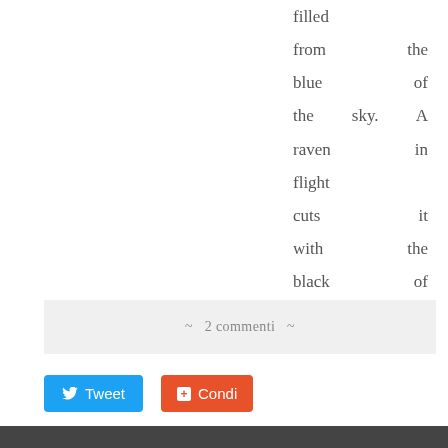filled from the blue of the sky. A raven in flight cuts it with the black of his wings.
~ 2 commenti ~
Tweet
Condi